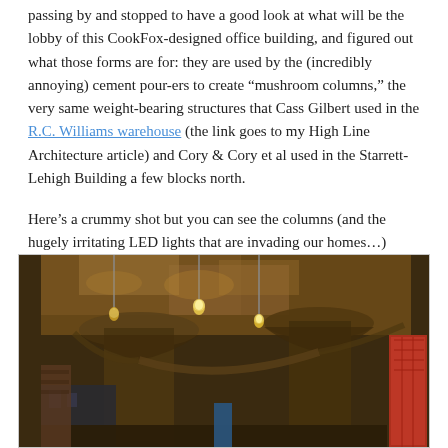passing by and stopped to have a good look at what will be the lobby of this CookFox-designed office building, and figured out what those forms are for: they are used by the (incredibly annoying) cement pour-ers to create “mushroom columns,” the very same weight-bearing structures that Cass Gilbert used in the R.C. Williams warehouse (the link goes to my High Line Architecture article) and Cory & Cory et al used in the Starrett-Lehigh Building a few blocks north.
Here’s a crummy shot but you can see the columns (and the hugely irritating LED lights that are invading our homes…)
[Figure (photo): Interior photo of a building under construction showing mushroom columns (wide concrete columns with flared caps supporting the ceiling), hanging light bulbs illuminating the space, and construction materials visible in the background.]